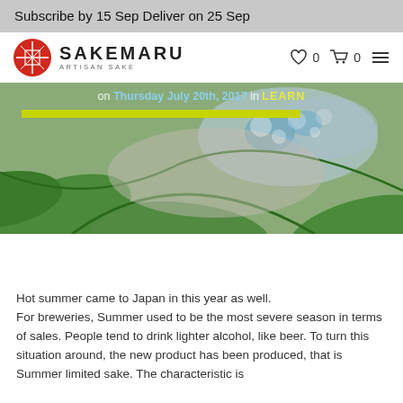Subscribe by 15 Sep Deliver on 25 Sep
[Figure (logo): Sakemaru Artisan Sake logo with red circular emblem and text SAKEMARU ARTISAN SAKE, plus navigation icons (heart 0, cart 0, hamburger menu)]
[Figure (photo): Hero image showing green leaves and blueish water/sea glass background with text overlay 'on Thursday July 20th, 2017 in LEARN' and a yellow-green horizontal bar beneath]
Hot summer came to Japan in this year as well.
For breweries, Summer used to be the most severe season in terms of sales. People tend to drink lighter alcohol, like beer. To turn this situation around, the new product has been produced, that is Summer limited sake. The characteristic is